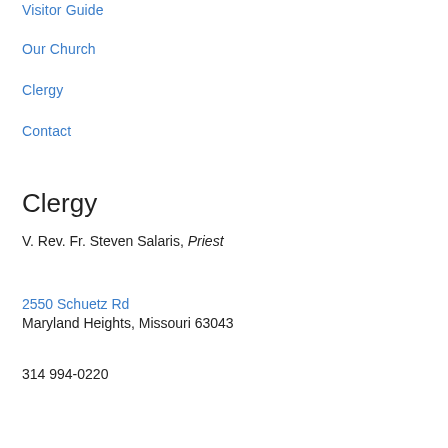Visitor Guide
Our Church
Clergy
Contact
Clergy
V. Rev. Fr. Steven Salaris, Priest
2550 Schuetz Rd
Maryland Heights, Missouri 63043
314 994-0220